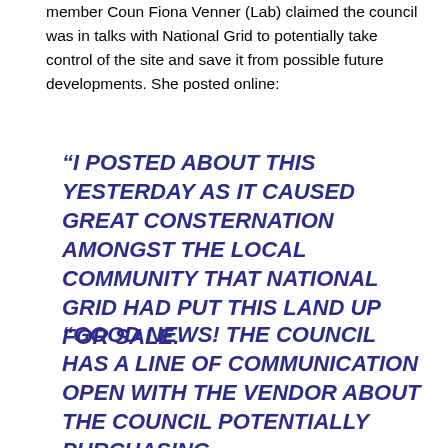member Coun Fiona Venner (Lab) claimed the council was in talks with National Grid to potentially take control of the site and save it from possible future developments. She posted online:
“I POSTED ABOUT THIS YESTERDAY AS IT CAUSED GREAT CONSTERNATION AMONGST THE LOCAL COMMUNITY THAT NATIONAL GRID HAD PUT THIS LAND UP FOR SALE.
“GOOD NEWS! THE COUNCIL HAS A LINE OF COMMUNICATION OPEN WITH THE VENDOR ABOUT THE COUNCIL POTENTIALLY PURCHASING